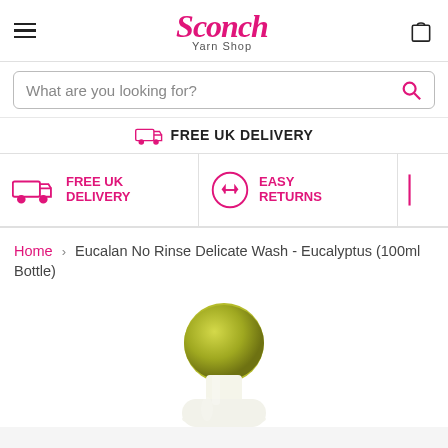Sconch Yarn Shop
What are you looking for?
FREE UK DELIVERY
FREE UK DELIVERY
EASY RETURNS
Home › Eucalan No Rinse Delicate Wash - Eucalyptus (100ml Bottle)
[Figure (photo): White roll-on bottle with olive/yellow-green ball cap top, shown from above against white background — Eucalan No Rinse Delicate Wash Eucalyptus 100ml bottle]